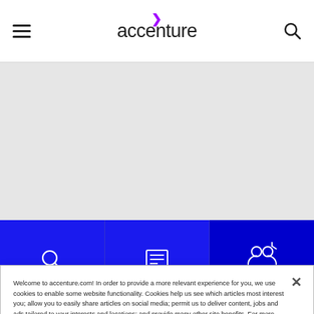Accenture navigation header with hamburger menu, Accenture logo, and search icon
[Figure (other): Gray hero image placeholder area]
Intelligent finance operations
Welcome to accenture.com! In order to provide a more relevant experience for you, we use cookies to enable some website functionality. Cookies help us see which articles most interest you; allow you to easily share articles on social media; permit us to deliver content, jobs and ads tailored to your interests and locations; and provide many other site benefits. For more information, please review our Cookies Policy and Privacy Statement.
❯ Cookies Settings
SEARCH JOBS
CAREERS BLOG
REGISTER FOR JOB ALERTS